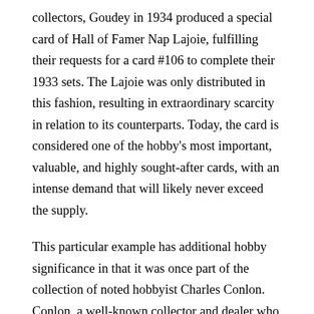collectors, Goudey in 1934 produced a special card of Hall of Famer Nap Lajoie, fulfilling their requests for a card #106 to complete their 1933 sets.  The Lajoie was only distributed in this fashion, resulting in extraordinary scarcity in relation to its counterparts.  Today, the card is considered one of the hobby's most important, valuable, and highly sought-after cards, with an intense demand that will likely never exceed the supply.
This particular example has additional hobby significance in that it was once part of the collection of noted hobbyist Charles Conlon.  Conlon, a well-known collector and dealer who passed away in 2008, was known as the “hoarder” of 1975 Topps Mini cards in Michigan.  After Conlon passed in 2008, his substantial collection was sold at auction, with all proceeds going to a variety of charities.  This example of the 1933 #106